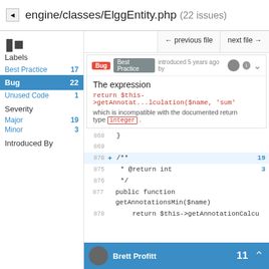engine/classes/ElggEntity.php (22 issues)
← previous file   next file →
Bug  Best Practice  introduced 5 years ago by
The expression
return $this->getAnnotat...lculation($name, 'sum'
Best Practice 17
Bug 22
which is incompatible with the documented return
Unused Code   type  integer .  1
Severity
868   }
869
Major  19
870   /**
Minor  3
875   * @return int
876   */
Introduced By
877   public function getAnnotationsMin($name)
878   return $this->getAnnotationCalcu
Brett Profitt  11
Labels